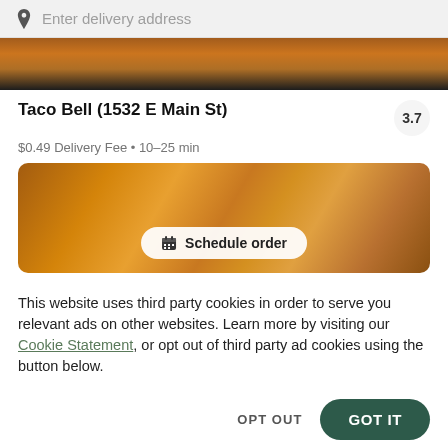Enter delivery address
[Figure (photo): Top strip of a food delivery app showing a partial food image from above, dark background with orange food item visible]
Taco Bell (1532 E Main St)
3.7
$0.49 Delivery Fee • 10–25 min
[Figure (photo): Close-up photo of a grilled Taco Bell food item (appears to be a Crunchwrap or grilled item) with a Schedule order button overlaid]
Schedule order
This website uses third party cookies in order to serve you relevant ads on other websites. Learn more by visiting our Cookie Statement, or opt out of third party ad cookies using the button below.
OPT OUT
GOT IT